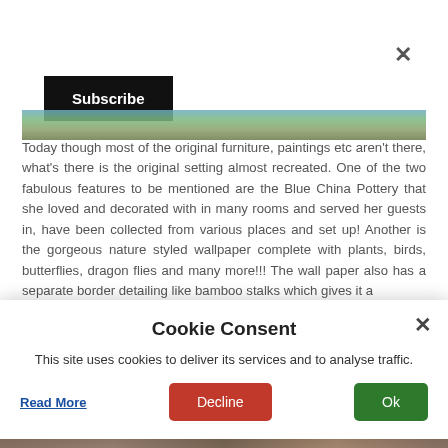[Figure (screenshot): Subscribe button with black background and white text in top-left area of page]
[Figure (photo): Partial image strip visible at top of article area, showing colourful outdoor/nature scene]
Today though most of the original furniture, paintings etc aren't there, what's there is the original setting almost recreated. One of the two fabulous features to be mentioned are the Blue China Pottery that she loved and decorated with in many rooms and served her guests in, have been collected from various places and set up! Another is the gorgeous nature styled wallpaper complete with plants, birds, butterflies, dragon flies and many more!!! The wall paper also has a separate border detailing like bamboo stalks which gives it a
[Figure (screenshot): Cookie Consent modal overlay with title 'Cookie Consent', body text about cookies, a Read More link, Decline button (red), and Ok button (green), with an X close button]
[Figure (photo): Partial image strip visible at bottom of page]